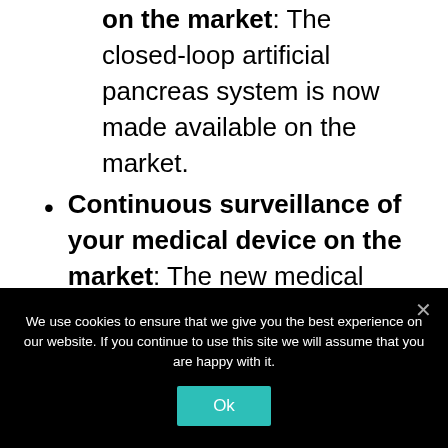on the market: The closed-loop artificial pancreas system is now made available on the market.
Continuous surveillance of your medical device on the market: The new medical device is constantly surveilled for any safety issues.
Detection of adverse events: You get reports that end-users are facing certain safety and efficacy issues with
We use cookies to ensure that we give you the best experience on our website. If you continue to use this site we will assume that you are happy with it.